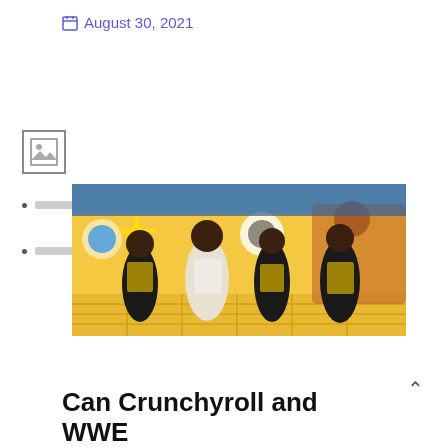August 30, 2021
[Figure (photo): WWE wrestlers (The New Day) posing in yellow and black themed costumes in front of a colorful cartoon mural backdrop on a decorated stage]
Can Crunchyroll and WWE